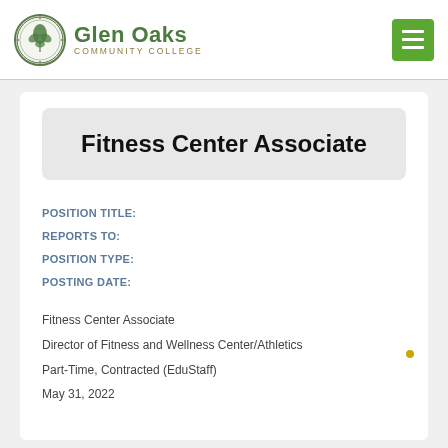Glen Oaks Community College
Fitness Center Associate
POSITION TITLE:
REPORTS TO:
POSITION TYPE:
POSTING DATE:
Fitness Center Associate
Director of Fitness and Wellness Center/Athletics
Part-Time, Contracted (EduStaff)
May 31, 2022